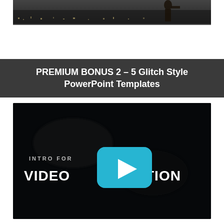[Figure (photo): Top portion of a photo showing a person filming outdoors on a rooftop or elevated area, dark moody scene with city lights below]
PREMIUM BONUS 2 - 5 Glitch Style PowerPoint Templates
[Figure (screenshot): Video thumbnail with dark background showing 'INTRO FOR' text and 'VIDEO CREATION' title in bold white, with a YouTube-style play button overlay in cyan/blue]